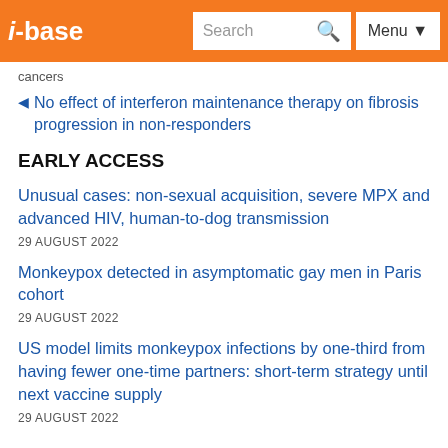i-base | Search | Menu
cancers
No effect of interferon maintenance therapy on fibrosis progression in non-responders
EARLY ACCESS
Unusual cases: non-sexual acquisition, severe MPX and advanced HIV, human-to-dog transmission
29 AUGUST 2022
Monkeypox detected in asymptomatic gay men in Paris cohort
29 AUGUST 2022
US model limits monkeypox infections by one-third from having fewer one-time partners: short-term strategy until next vaccine supply
29 AUGUST 2022